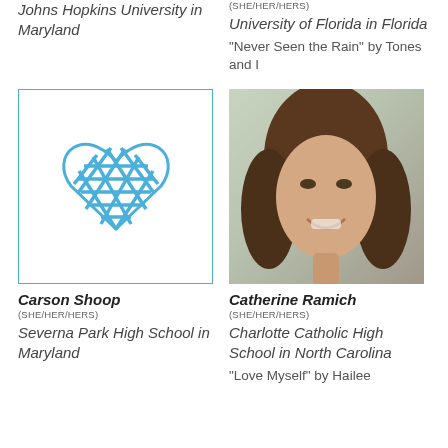Johns Hopkins University in Maryland
(SHE/HER/HERS)
University of Florida in Florida
“Never Seen the Rain” by Tones and I
[Figure (illustration): Placeholder profile icon: a blue lattice heart outline on white background with light blue border]
Carson Shoop
(SHE/HER/HERS)
Severna Park High School in Maryland
[Figure (photo): Portrait photo of Catherine Ramich, a young woman with dark curly hair, smiling, green/outdoor background]
Catherine Ramich
(SHE/HER/HERS)
Charlotte Catholic High School in North Carolina
“Love Myself” by Hailee